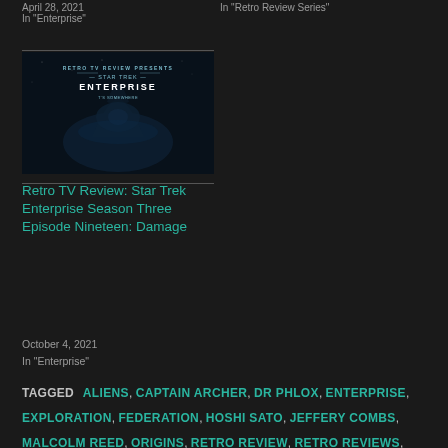April 28, 2021
In "Enterprise"
In "Retro Review Series"
[Figure (illustration): Dark promotional image for Retro TV Review presents Star Trek Enterprise with figure in shadow]
Retro TV Review: Star Trek Enterprise Season Three Episode Nineteen: Damage
October 4, 2021
In "Enterprise"
TAGGED ALIENS, CAPTAIN ARCHER, DR PHLOX, ENTERPRISE, EXPLORATION, FEDERATION, HOSHI SATO, JEFFERY COMBS, MALCOLM REED, ORIGINS, RETRO REVIEW, RETRO REVIEWS, RETRO TV REVIEW, REVIEW, REVIEWS, SC-FI, SCI FI, SCIENCE, SCIENCE FICTION, SCIFI, STAR TREK, STNG, T'POL, TRAVIS